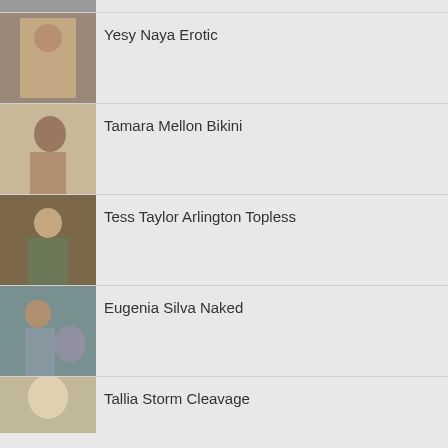Yesy Naya Erotic
Tamara Mellon Bikini
Tess Taylor Arlington Topless
Eugenia Silva Naked
Tallia Storm Cleavage